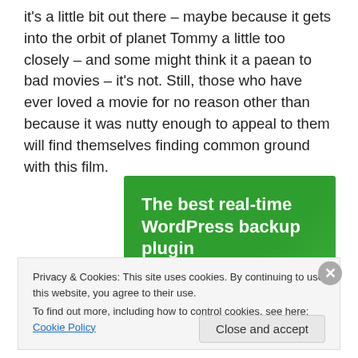it's a little bit out there – maybe because it gets into the orbit of planet Tommy a little too closely – and some might think it a paean to bad movies – it's not. Still, those who have ever loved a movie for no reason other than because it was nutty enough to appeal to them will find themselves finding common ground with this film.
[Figure (other): Green advertisement banner for 'The best real-time WordPress backup plugin']
Privacy & Cookies: This site uses cookies. By continuing to use this website, you agree to their use.
To find out more, including how to control cookies, see here: Cookie Policy